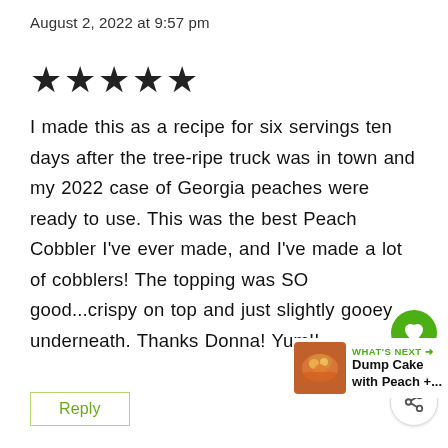August 2, 2022 at 9:57 pm
★★★★★
I made this as a recipe for six servings ten days after the tree-ripe truck was in town and my 2022 case of Georgia peaches were ready to use. This was the best Peach Cobbler I've ever made, and I've made a lot of cobblers! The topping was SO good...crispy on top and just slightly gooey underneath. Thanks Donna! Yum!!
Reply
[Figure (other): Heart/like button icon (green circle with heart), count 103, and share button]
[Figure (other): What's Next widget with thumbnail image and text 'Dump Cake with Peach +...']